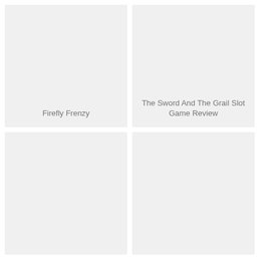[Figure (other): Gray placeholder card with text label 'Firefly Frenzy' at bottom]
[Figure (other): Gray placeholder card with text label 'The Sword And The Grail Slot Game Review' at bottom]
[Figure (other): Gray placeholder card with no visible text label]
[Figure (other): Gray placeholder card with no visible text label]